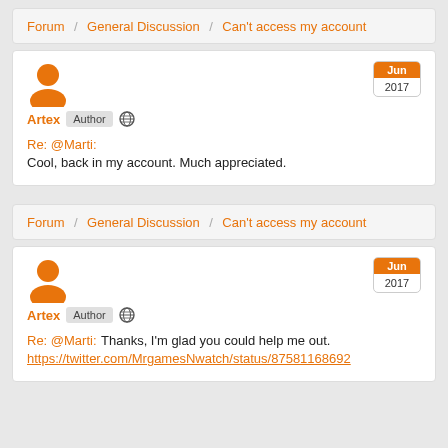Forum / General Discussion / Can't access my account
Artex Author
Re: @Marti:
Cool, back in my account. Much appreciated.
Jun 2017
Forum / General Discussion / Can't access my account
Artex Author
Re: @Marti: Thanks, I'm glad you could help me out.
https://twitter.com/MrgamesNwatch/status/87581168692
Jun 2017